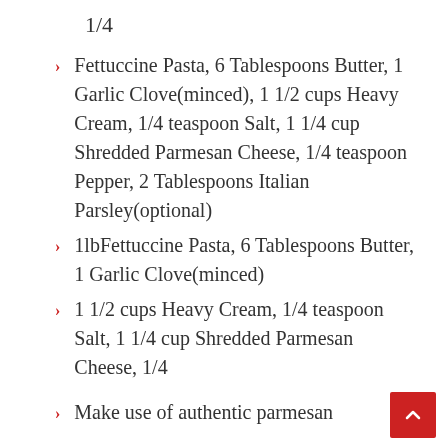1/4
Fettuccine Pasta, 6 Tablespoons Butter, 1 Garlic Clove(minced), 1 1/2 cups Heavy Cream, 1/4 teaspoon Salt, 1 1/4 cup Shredded Parmesan Cheese, 1/4 teaspoon Pepper, 2 Tablespoons Italian Parsley(optional)
1lbFettuccine Pasta, 6 Tablespoons Butter, 1 Garlic Clove(minced)
1 1/2 cups Heavy Cream, 1/4 teaspoon Salt, 1 1/4 cup Shredded Parmesan Cheese, 1/4
Make use of authentic parmesan